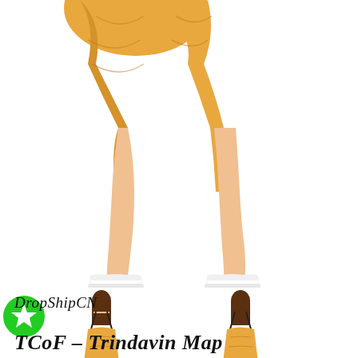[Figure (photo): Close-up back view of lower body of a woman wearing a short orange patterned dress and white sneakers, cropped at waist level, white background]
[Figure (photo): Two small thumbnail images side-by-side showing a woman from behind wearing an orange patterned spaghetti-strap mini dress with a low back, white sneakers, white background]
DropShipCN
TCoF – Trindavin Map